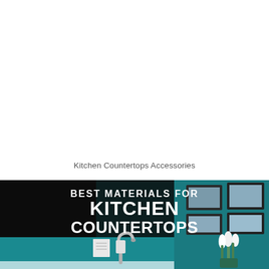Kitchen Countertops Accessories
[Figure (photo): A kitchen scene with teal/dark green walls, framed pictures on the wall, a faucet, white flowers in a vase, and text overlay reading 'BEST MATERIALS FOR KITCHEN COUNTERTOPS' in bold white letters on a dark semi-transparent banner.]